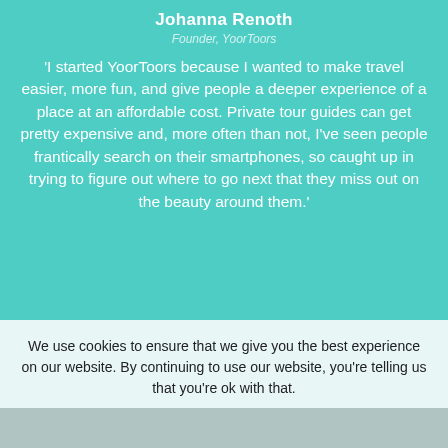Johanna Renoth
Founder, YoorToors
'I started YoorToors because I wanted to make travel easier, more fun, and give people a deeper experience of a place at an affordable cost. Private tour guides can get pretty expensive and, more often than not, I've seen people frantically search on their smartphones, so caught up in trying to figure out where to go next that they miss out on the beauty around them.'
We use cookies to ensure that we give you the best experience on our website. By continuing to use our website, you're telling us that you're ok with that.
Accept
Privacy policy